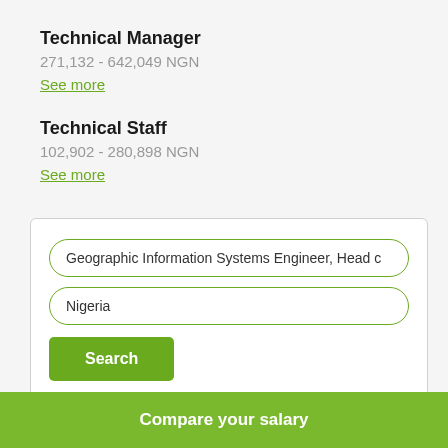Technical Manager
271,132 - 642,049 NGN
See more
Technical Staff
102,902 - 280,898 NGN
See more
Geographic Information Systems Engineer, Head c
Nigeria
Search
Compare your salary